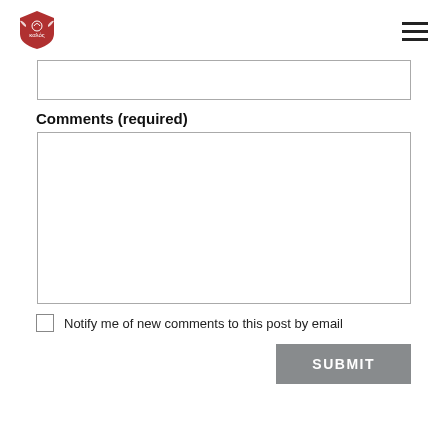[Figure (logo): Red shield-shaped logo with wings and Greek text 'καλός']
[Figure (other): Hamburger menu icon with three horizontal lines]
[Figure (other): Empty input text field]
Comments (required)
[Figure (other): Large empty textarea for comments]
Notify me of new comments to this post by email
SUBMIT